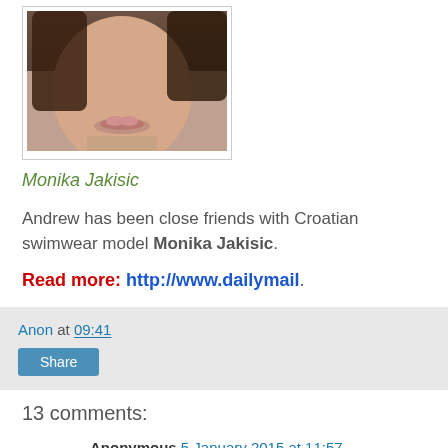[Figure (photo): Close-up photo of a woman's face and hair, partial view showing lips and hand near face]
Monika Jakisic
Andrew has been close friends with Croatian swimwear model Monika Jakisic.
Read more: http://www.dailymail.
Anon at 09:41
Share
13 comments:
Anonymous 5 January 2015 at 11:57
http://www.globalresearch.ca/israeli-founder-contests-founding-myths/5422837